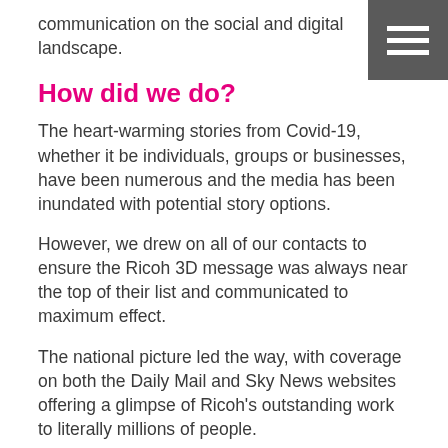communication on the social and digital landscape.
How did we do?
The heart-warming stories from Covid-19, whether it be individuals, groups or businesses, have been numerous and the media has been inundated with potential story options.
However, we drew on all of our contacts to ensure the Ricoh 3D message was always near the top of their list and communicated to maximum effect.
The national picture led the way, with coverage on both the Daily Mail and Sky News websites offering a glimpse of Ricoh's outstanding work to literally millions of people.
Regionally, featuring on prime-time BBC Midlands Today generated brand awareness for the Telford-based company through the small screen while an array of coverage in trade titles – including Plastik Media, Production Engineering Solutions and Medical Plastics...